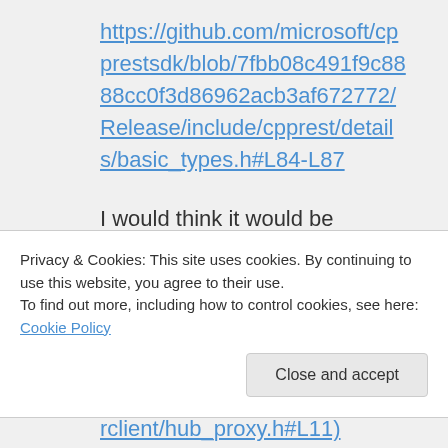https://github.com/microsoft/cpprestsdk/blob/7fbb08c491f9c8888cc0f3d86962acb3af672772/Release/include/cpprest/details/basic_types.h#L84-L87
I would think it would be automatically included once you include one of the SignalR headers – most of them include basic_types
Privacy & Cookies: This site uses cookies. By continuing to use this website, you agree to their use.
To find out more, including how to control cookies, see here: Cookie Policy
Close and accept
rclient/hub_proxy.h#L11)